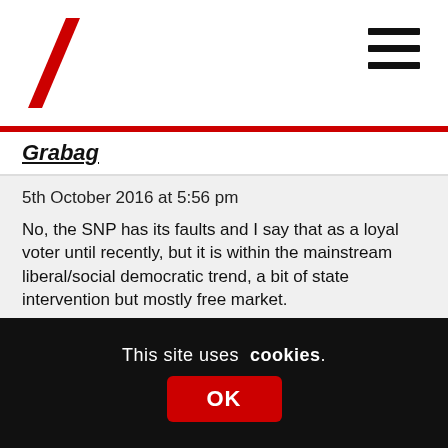Grabag
5th October 2016 at 5:56 pm
No, the SNP has its faults and I say that as a loyal voter until recently, but it is within the mainstream liberal/social democratic trend, a bit of state intervention but mostly free market.
Sometimes it goes too far that way, like putting a corporate lobbyist in charge of the economic policy refresh, sometimes too far the other, like state guardians, but these are exceptions.
This site uses cookies. OK